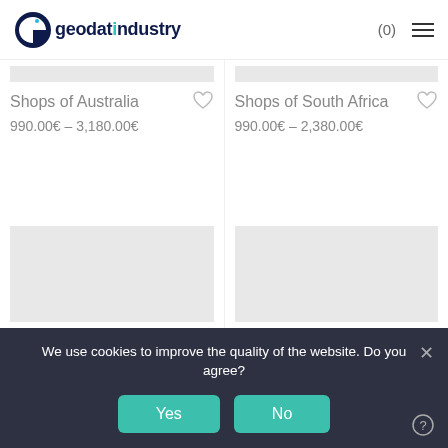geodatindustry (0)
Shops of Australia
990.00€ – 3,180.00€
Shops of South Africa
990.00€ – 2,380.00€
[Figure (other): Two gray placeholder product image cards]
We use cookies to improve the quality of the website. Do you agree?